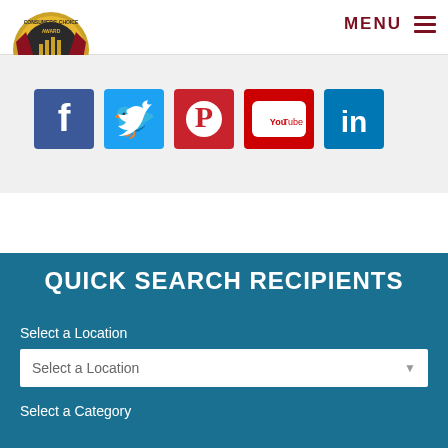MENU
[Figure (logo): Consumers Choice Award gold medal logo with red ribbon]
[Figure (infographic): Social media icons: Facebook (blue), Twitter (light blue), Pinterest (red), YouTube (red), LinkedIn (blue)]
QUICK SEARCH RECIPIENTS
Select a Location
Select a Location
Select a Category